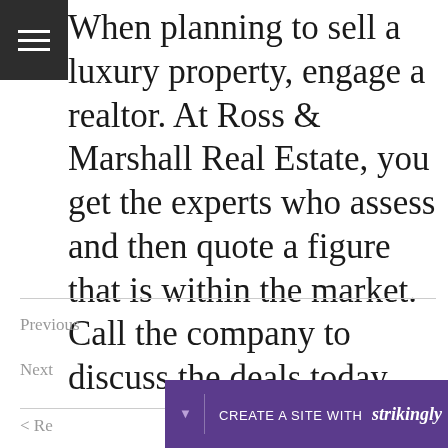When planning to sell a luxury property, engage a realtor. At Ross & Marshall Real Estate, you get the experts who assess and then quote a figure that is within the market. Call the company to discuss the deals today.
Previous
Next
CREATE A SITE WITH strikingly